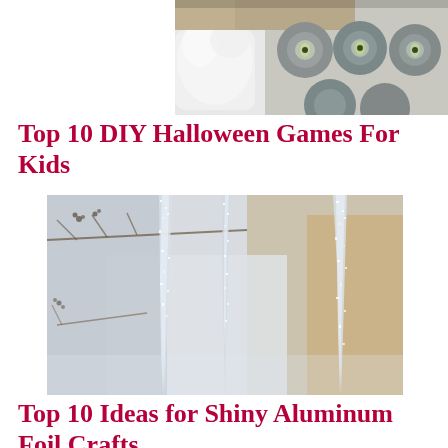[Figure (photo): Top portion of a craft/Halloween photo showing a white fluffy item and rolls of yarn or eyeball-shaped balls in grey and yellow-green colors]
Top 10 DIY Halloween Games For Kids
[Figure (photo): Close-up photo of glittery icicle decorations hanging from bare winter branches against a blurred light background]
Top 10 Ideas for Shiny Aluminum Foil Crafts